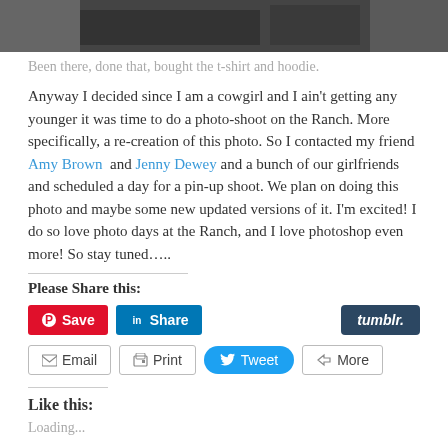[Figure (photo): Top portion of a photo showing people, cropped at top of page]
Been there, done that, bought the t-shirt and hoodie.
Anyway I decided since I am a cowgirl and I ain't getting any younger it was time to do a photo-shoot on the Ranch. More specifically, a re-creation of this photo. So I contacted my friend Amy Brown and Jenny Dewey and a bunch of our girlfriends and scheduled a day for a pin-up shoot. We plan on doing this photo and maybe some new updated versions of it. I'm excited! I do so love photo days at the Ranch, and I love photoshop even more! So stay tuned…..
Please Share this:
Save | Share | tumblr. | Email | Print | Tweet | More
Like this:
Loading...